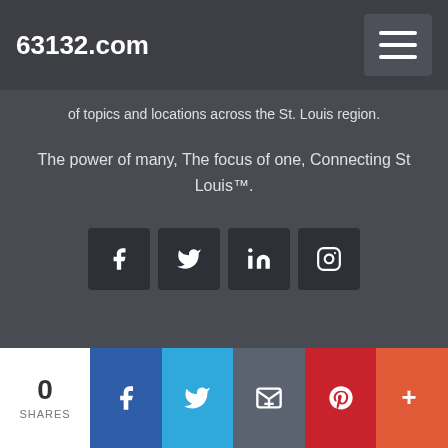63132.com
of topics and locations across the St. Louis region.
The power of many, The focus of one, Connecting St Louis™.
[Figure (infographic): Social media icon buttons for Facebook, Twitter, LinkedIn, and Instagram on dark background squares]
0 SHARES — Facebook, Twitter, Email, Pinterest, More share buttons